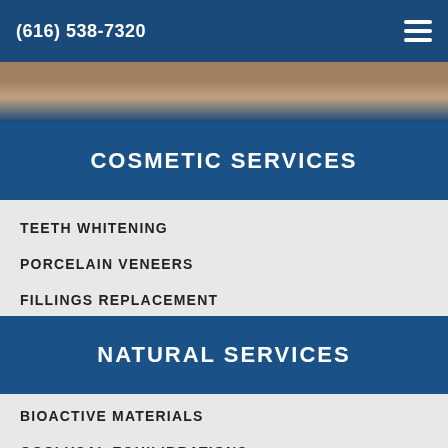(616) 538-7320
[Figure (photo): Partial view of a person in a white shirt, cropped dental office photo]
COSMETIC SERVICES
TEETH WHITENING
PORCELAIN VENEERS
FILLINGS REPLACEMENT
NATURAL SERVICES
BIOACTIVE MATERIALS
OCCLUSAL EQUILIBRATIONS
OZONE THERAPY
SALIVA TESTING